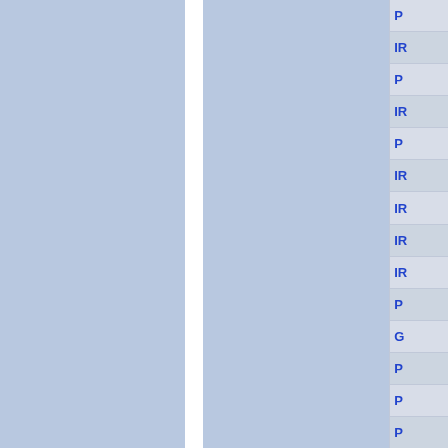[Figure (screenshot): Navigation panel showing a list of items starting with 'P', 'IR', 'P', 'IR', 'P', 'IR', 'IR', 'IR', 'IR', 'P', 'G', 'P', 'P', 'P' on the right side, with two blue-gray panel columns on the left separated by a white vertical divider.]